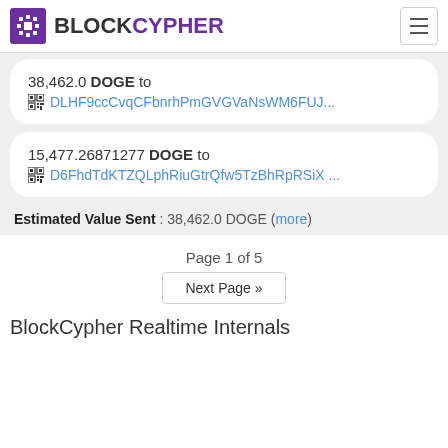BLOCKCYPHER
38,462.0 DOGE to DLHF9ccCvqCFbnrhPmGVGVaNsWM6FUJ...
15,477.26871277 DOGE to D6FhdTdKTZQLphRiuGtrQfw5TzBhRpRSiX ...
Estimated Value Sent : 38,462.0 DOGE (more)
Page 1 of 5
Next Page »
BlockCypher Realtime Internals